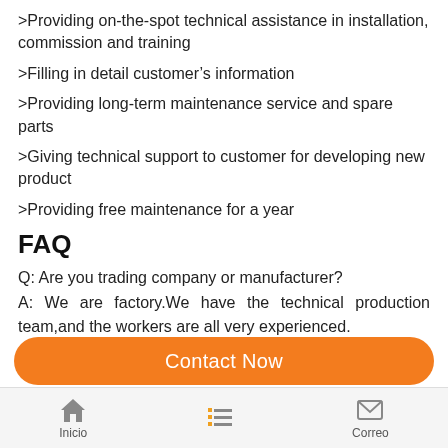>Providing on-the-spot technical assistance in installation, commission and training
>Filling in detail customer's information
>Providing long-term maintenance service and spare parts
>Giving technical support to customer for developing new product
>Providing free maintenance for a year
FAQ
Q: Are you trading company or manufacturer?
A: We are factory.We have the technical production team,and the workers are all very experienced.
Q: Why choose you?
A:1)You can get a very fair price from us and our price can make you beat your competitors in the market.
2) Our Excellent Service
Contact Now
Inicio   Correo